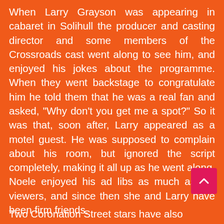When Larry Grayson was appearing in cabaret in Solihull the producer and casting director and some members of the Crossroads cast went along to see him, and enjoyed his jokes about the programme. When they went backstage to congratulate him he told them that he was a real fan and asked, "Why don't you get me a spot?" So it was that, soon after, Larry appeared as a motel guest. He was supposed to complain about his room, but ignored the script completely, making it all up as he went along. Noele enjoyed his ad libs as much as the viewers, and since then she and Larry have been firm friends.
Two Coronation Street stars have also